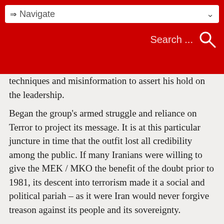⇒ Navigate | Search ...
techniques and misinformation to assert his hold on the leadership.
Began the group's armed struggle and reliance on Terror to project its message. It is at this particular juncture in time that the outfit lost all credibility among the public. If many Iranians were willing to give the MEK / MKO the benefit of the doubt prior to 1981, its descent into terrorism made it a social and political pariah – as it were Iran would never forgive treason against its people and its sovereignty.
In the years that follow the MEK / MKO made carved a path of blood and violence, claiming to its sordid cult thousands of innocent lives – women, children, the elderly ... no acts of